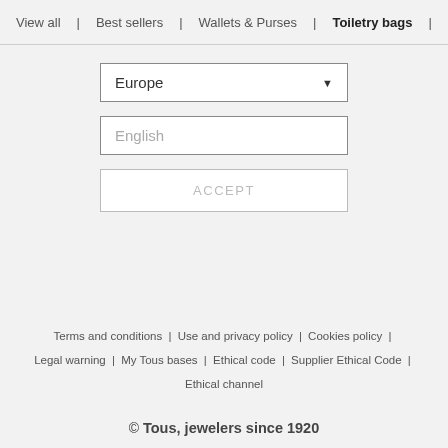View all | Best sellers | Wallets & Purses | Toiletry bags | For Him | Scarves
Europe (dropdown)
English (input)
ACCEPT
Terms and conditions | Use and privacy policy | Cookies policy | Legal warning | My Tous bases | Ethical code | Supplier Ethical Code | Ethical channel
© Tous, jewelers since 1920